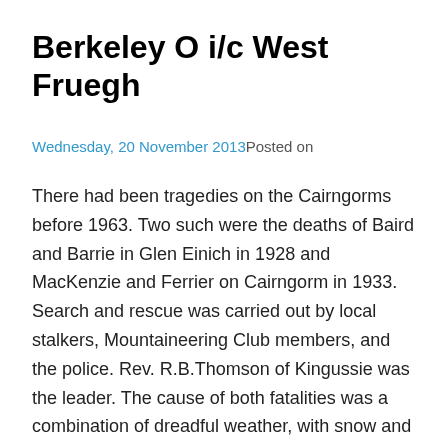Berkeley O i/c West Fruegh
Wednesday, 20 November 2013Posted on
There had been tragedies on the Cairngorms before 1963. Two such were the deaths of Baird and Barrie in Glen Einich in 1928 and MacKenzie and Ferrier on Cairngorm in 1933. Search and rescue was carried out by local stalkers, Mountaineering Club members, and the police. Rev. R.B.Thomson of Kingussie was the leader. The cause of both fatalities was a combination of dreadful weather, with snow and high winds; a lack of appropriate clothing and equipment; inadequate food reserves in one case and carrying a very heavy load in the other fatality. We must remember that in those days tweeds, a raincoat